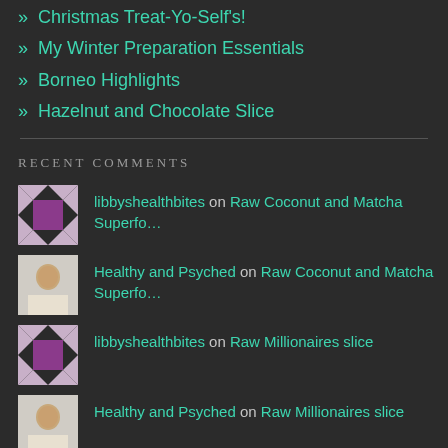» Christmas Treat-Yo-Self's!
» My Winter Preparation Essentials
» Borneo Highlights
» Hazelnut and Chocolate Slice
RECENT COMMENTS
libbyshealthbites on Raw Coconut and Matcha Superfo…
Healthy and Psyched on Raw Coconut and Matcha Superfo…
libbyshealthbites on Raw Millionaires slice
Healthy and Psyched on Raw Millionaires slice